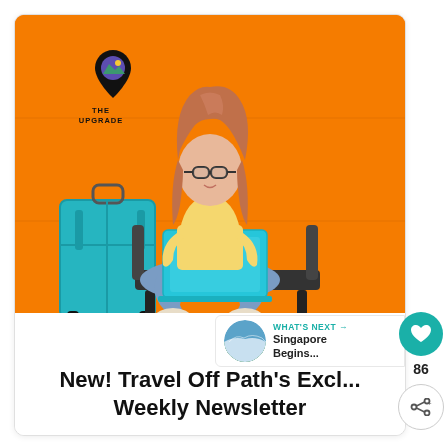[Figure (photo): Orange background photo showing a young woman with glasses sitting cross-legged on a chair, working on a teal/cyan laptop, with a teal suitcase to her left. A logo reading 'THE UPGRADE' with a map pin icon is visible in the upper left of the image.]
New! Travel Off Path's Excl... Weekly Newsletter